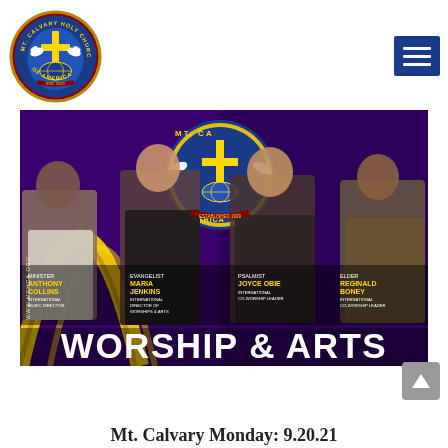[Figure (logo): Mt. Calvary Holy Church of America circular logo with cross and shield, gold border]
[Figure (illustration): Navigation menu hamburger icon button (three horizontal lines on blue background)]
[Figure (photo): Promotional flyer for Worship & Arts event. Purple and gold background with Mt. Calvary Holy Church of America seal. Four people pictured: Minister Anthony Collins (International Music Director), Evangelist Maria Jenkins (International Director of Worships & Arts), Psalmist Joyce Obie (International Co-Worship Leader), Elder Reginald Boney (International Co-Worship Leader). Large text reads WORSHIP & ARTS at the bottom. www.mchca.org shown vertically on the left.]
Mt. Calvary Monday: 9.20.21